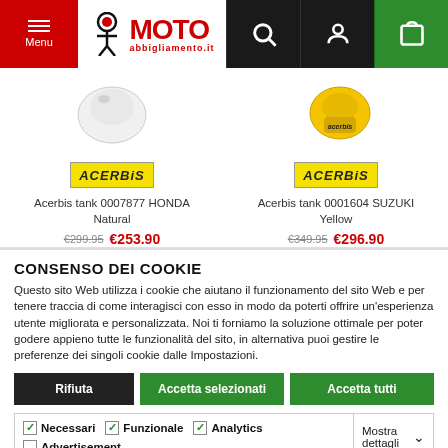Moto Abbigliamento.it — Menu, Search, Account, Cart navigation bar
[Figure (photo): Two product images: left is Acerbis tank 0007877 HONDA Natural (white), right is Acerbis tank 0001604 SUZUKI Yellow (yellow)]
Acerbis tank 0007877 HONDA Natural
€299.95  €253.90
Acerbis tank 0001604 SUZUKI Yellow
€349.95  €296.90
CONSENSO DEI COOKIE
Questo sito Web utilizza i cookie che aiutano il funzionamento del sito Web e per tenere traccia di come interagisci con esso in modo da poterti offrire un'esperienza utente migliorata e personalizzata. Noi ti forniamo la soluzione ottimale per poter godere appieno tutte le funzionalità del sito, in alternativa puoi gestire le preferenze dei singoli cookie dalle Impostazioni.
Rifiuta | Accetta selezionati | Accetta tutti
Necessari  Funzionale  Analytics  Advertisement | Mostra dettagli